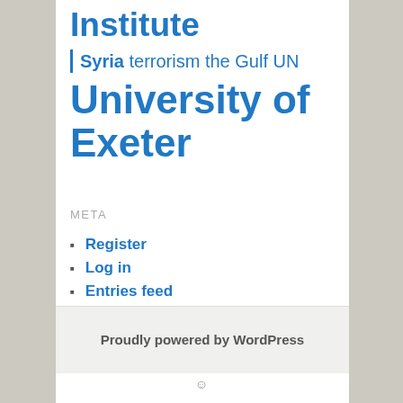Institute
Syria terrorism the Gulf UN
University of Exeter
META
Register
Log in
Entries feed
Comments feed
WordPress.org
Proudly powered by WordPress